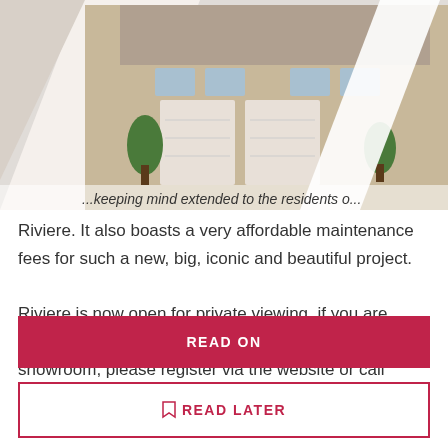[Figure (photo): Collage of house exterior (brick facade with double garage), green lawn/landscape, and interior kitchen countertop images arranged in a diamond/chevron pattern]
...keeping mind extended to the residents of Riviere. It also boasts a very affordable maintenance fees for such a new, big, iconic and beautiful project.
Riviere is now open for private viewing, if you are interested to come for a non-obligatory tour of the showroom, please register via the website or call 63879196 for our sales associates to attend to you.
READ ON
READ LATER